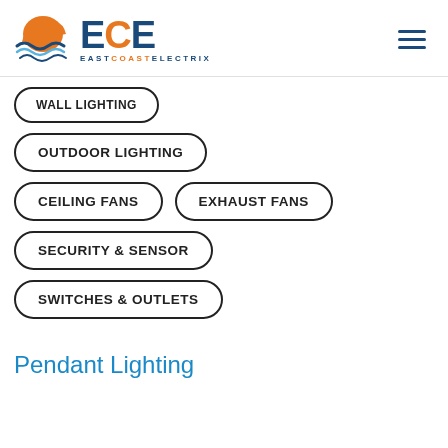[Figure (logo): East Coast Electrix (ECE) logo with sun/wave icon and text]
WALL LIGHTING
OUTDOOR LIGHTING
CEILING FANS
EXHAUST FANS
SECURITY & SENSOR
SWITCHES & OUTLETS
Pendant Lighting